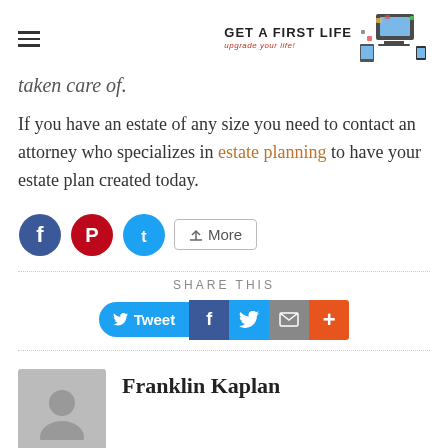Get A First Life — upgrade your life!
taken care of.
If you have an estate of any size you need to contact an attorney who specializes in estate planning to have your estate plan created today.
[Figure (infographic): Social share buttons: Facebook (blue circle), Pinterest (red circle), Twitter (blue circle), and More button]
SHARE THIS
[Figure (infographic): Share row: Tweet button, Facebook square, Twitter square, Email square, Plus square]
Franklin Kaplan